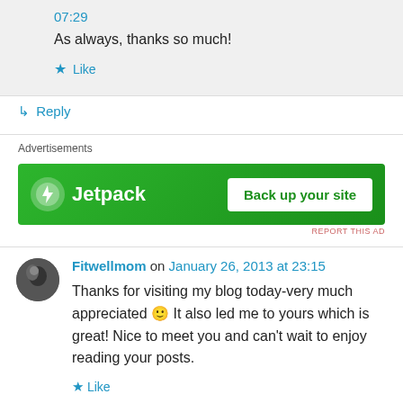07:29
As always, thanks so much!
Like
Reply
Advertisements
[Figure (infographic): Jetpack advertisement banner with green background showing Jetpack logo and 'Back up your site' button]
REPORT THIS AD
Fitwellmom on January 26, 2013 at 23:15
Thanks for visiting my blog today-very much appreciated 🙂 It also led me to yours which is great! Nice to meet you and can't wait to enjoy reading your posts.
Like